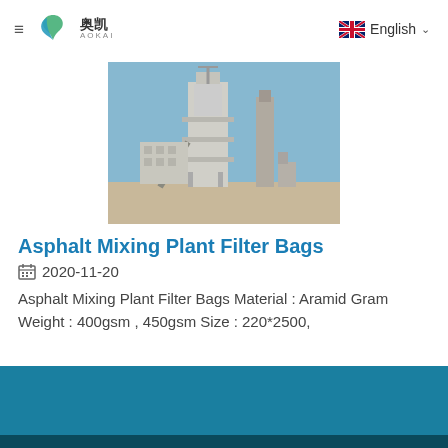≡  奥凯 AOKAI   English
[Figure (photo): Asphalt mixing plant facility with tall silos and industrial structures against a blue sky]
Asphalt Mixing Plant Filter Bags
2020-11-20
Asphalt Mixing Plant Filter Bags Material : Aramid Gram Weight : 400gsm , 450gsm Size : 220*2500,